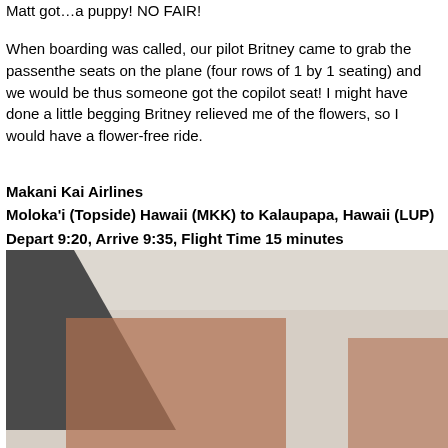Matt got…a puppy!  NO FAIR!
When boarding was called, our pilot Britney came to grab the passengers and assign the seats on the plane (four rows of 1 by 1 seating) and we would be flying full, thus someone got the copilot seat!  I might have done a little begging… Britney relieved me of the flowers, so I would have a flower-free ride.
Makani Kai Airlines
Moloka'i (Topside) Hawaii (MKK) to Kalaupapa, Hawaii (LUP)
Depart 9:20, Arrive 9:35, Flight Time 15 minutes
Piper PA-31 Chieftan, Registration N135PB, Manufactured ???, S
To said I was a little bit excited…well, that's an understatement.  I finally got the seat, along with the small laptop bag I was carrying.  There was a… we waited for the pilot, I sat anxiously!
[Figure (photo): Photo of what appears to be an airport or small terminal building with a dark object (possibly part of an aircraft) in the foreground left, brick buildings visible in the background.]